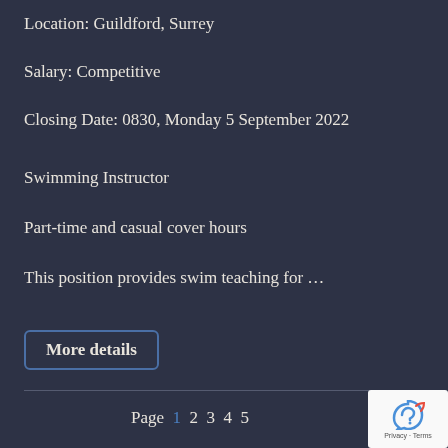Location: Guildford, Surrey
Salary: Competitive
Closing Date: 0830, Monday 5 September 2022
Swimming Instructor
Part-time and casual cover hours
This position provides swim teaching for …
More details
Page 1 2 3 4 5